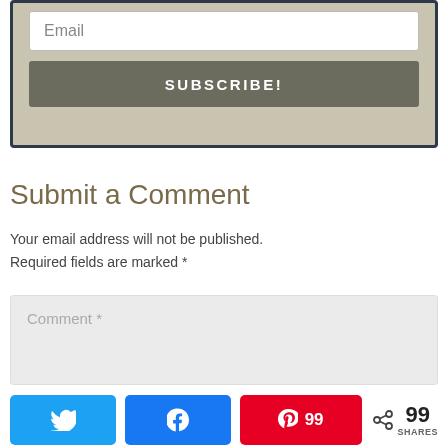[Figure (screenshot): Email subscription box with a white email input field and a dark gray SUBSCRIBE! button, on a beige/tan background with dark navy border]
Submit a Comment
Your email address will not be published. Required fields are marked *
[Figure (screenshot): Comment text area input box with placeholder text 'Comment *' on light gray background]
[Figure (screenshot): Social sharing bar with Twitter button, Facebook button, Pinterest button showing 99, and share icon with 99 SHARES]